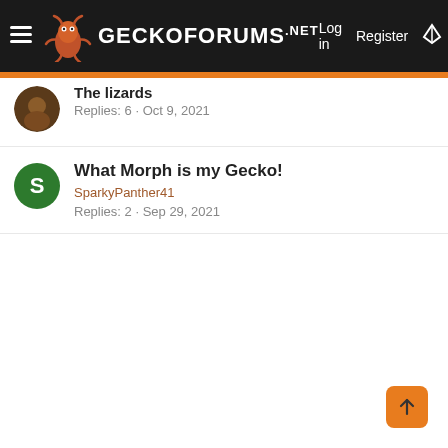GECKOFORUMS.NET — Log in | Register
The lizards
Replies: 6 · Oct 9, 2021
What Morph is my Gecko!
SparkyPanther41
Replies: 2 · Sep 29, 2021